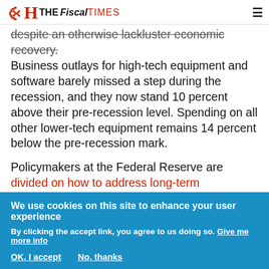THE FISCAL TIMES
despite an otherwise lackluster economic recovery. Business outlays for high-tech equipment and software barely missed a step during the recession, and they now stand 10 percent above their pre-recession level. Spending on all other lower-tech equipment remains 14 percent below the pre-recession mark.
Policymakers at the Federal Reserve are divided on how to address long-term unemployment. Some believe that growing skill mismatches have already
We use cookies on this site to enhance your user experience
By clicking the accept link, you agree to us doing so. Give me more info
OK, I accept   No, thanks